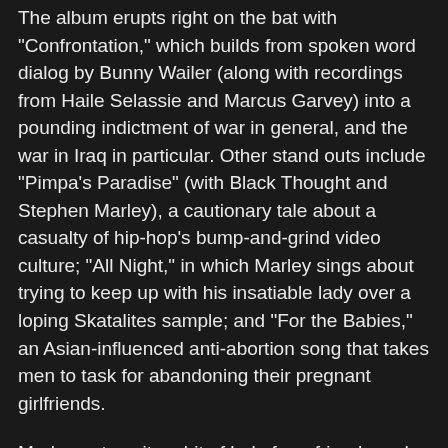The album erupts right on the bat with "Confrontation," which builds from spoken word dialog by Bunny Wailer (along with recordings from Haile Selassie and Marcus Garvey) into a pounding indictment of war in general, and the war in Iraq in particular. Other stand outs include "Pimpa's Paradise" (with Black Thought and Stephen Marley), a cautionary tale about a casualty of hip-hop's bump-and-grind video culture; "All Night," in which Marley sings about trying to keep up with his insatiable lady over a loping Skatalites sample; and "For the Babies," an Asian-influenced anti-abortion song that takes men to task for abandoning their pregnant girlfriends.
Marley gets quite a bit of help from friends and relatives, including his late father, on several of the tracks. Bunny Wailer, Nas, Black Thought, Bounty Killer, Eek-A-Mouse and even Bobby Brown put in appearances. Marley's brother, Stephen, co-wrote and performs on many of the songs. And at least two songs include "interpolations" or samples of work by Bob Marley himself. But while Marley isn't shy about celebrating (or cribbing from) his father's legacy, the end product is his alone.